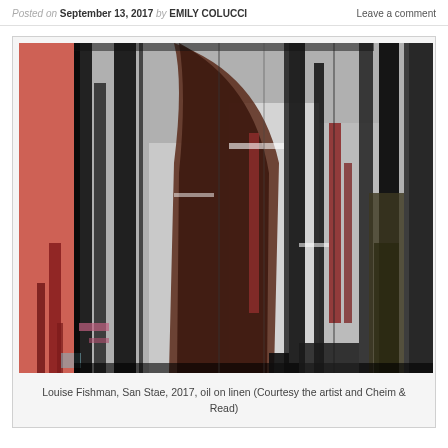Posted on September 13, 2017 by EMILY COLUCCI   Leave a comment
[Figure (photo): Abstract oil painting on linen by Louise Fishman titled 'San Stae', 2017. Features vertical gestural brushstrokes in black, white, red/coral, and dark earth tones suggesting an urban architectural scene.]
Louise Fishman, San Stae, 2017, oil on linen (Courtesy the artist and Cheim & Read)